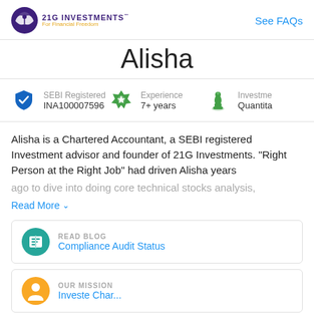21G INVESTMENTS For Financial Freedom | See FAQs
Alisha
SEBI Registered INA100007596 | Experience 7+ years | Investment Quantita
Alisha is a Chartered Accountant, a SEBI registered Investment advisor and founder of 21G Investments. "Right Person at the Right Job" had driven Alisha years ago to dive into doing core technical stocks analysis,
Read More
READ BLOG
Compliance Audit Status
OUR MISSION